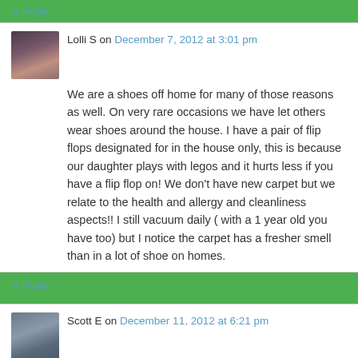↳ Reply
Lolli S on December 7, 2012 at 3:01 pm
We are a shoes off home for many of those reasons as well. On very rare occasions we have let others wear shoes around the house. I have a pair of flip flops designated for in the house only, this is because our daughter plays with legos and it hurts less if you have a flip flop on! We don't have new carpet but we relate to the health and allergy and cleanliness aspects!! I still vacuum daily ( with a 1 year old you have too) but I notice the carpet has a fresher smell than in a lot of shoe on homes.
↳ Reply
Scott E on December 11, 2012 at 6:21 pm
I was thinking about this post the other night when I had to carry my sleeping child from the car to his bedroom without waking him. Shoeless household or not, sometimes the rules get broken…